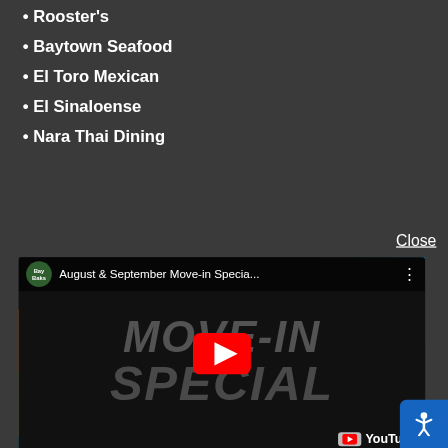• Rooster's
• Baytown Seafood
• El Toro Mexican
• El Sinaloense
• Nara Thai Dining
Close
[Figure (screenshot): YouTube video thumbnail showing 'August & September Move-in Specia...' with colorful abstract background and MOVE-IN SPECIAL text overlay, YouTube play button in center, channel icon for BayBaks, and YouTube logo at bottom right.]
• Baytown Shopping Center
• Willowcreek Shopping Center
• West Town Shopping Center
• San Jacinto Mall
No matter where you're going or what you're doing